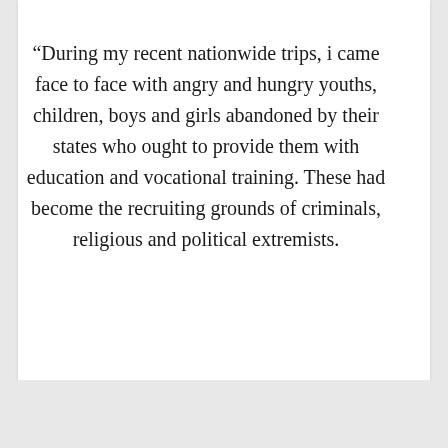“During my recent nationwide trips, i came face to face with angry and hungry youths, children, boys and girls abandoned by their states who ought to provide them with education and vocational training. These had become the recruiting grounds of criminals, religious and political extremists.